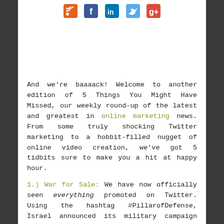[Figure (other): Row of social media icons: RSS (orange), Facebook (blue), LinkedIn (dark blue), Twitter (light blue), Google+ (red)]
And we're baaaack! Welcome to another edition of 5 Things You Might Have Missed, our weekly round-up of the latest and greatest in online marketing news. From some truly shocking Twitter marketing to a hobbit-filled nugget of online video creation, we've got 5 tidbits sure to make you a hit at happy hour.
1.) War for Sale: We have now officially seen everything promoted on Twitter. Using the hashtag #PillarofDefense, Israel announced its military campaign against the Hamas on Twitter early last week. By Wednesday, the country was